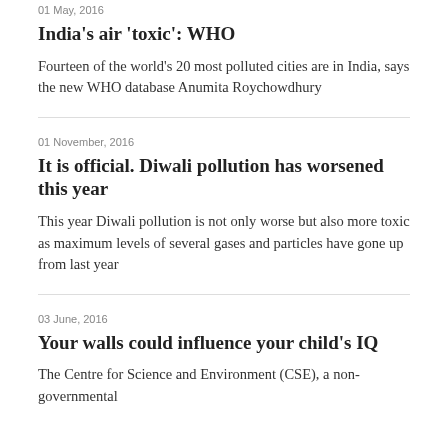01 May, 2016
India’s air ‘toxic’: WHO
Fourteen of the world’s 20 most polluted cities are in India, says the new WHO database Anumita Roychowdhury
01 November, 2016
It is official. Diwali pollution has worsened this year
This year Diwali pollution is not only worse but also more toxic as maximum levels of several gases and particles have gone up from last year
03 June, 2016
Your walls could influence your child's IQ
The Centre for Science and Environment (CSE), a non-governmental